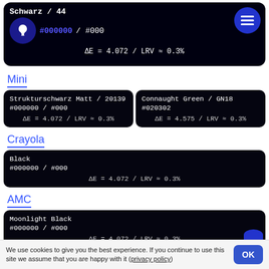[Figure (screenshot): Top color card for Schwarz/44 with hex #000000/#000, showing delta E and LRV values, with lightbulb icon and menu button]
Mini
| Strukturschwarz Matt / 20139
#000000 / #000
ΔE = 4.072 / LRV ≈ 0.3% | Connaught Green / GN18
#020302
ΔE = 4.575 / LRV ≈ 0.3% |
Crayola
Black
#000000 / #000
ΔE = 4.072 / LRV ≈ 0.3%
AMC
Moonlight Black
#000000 / #000
ΔE = 4.072 / LRV ≈ 0.3%
We use cookies to give you the best experience. If you continue to use this site we assume that you are happy with it (privacy policy)